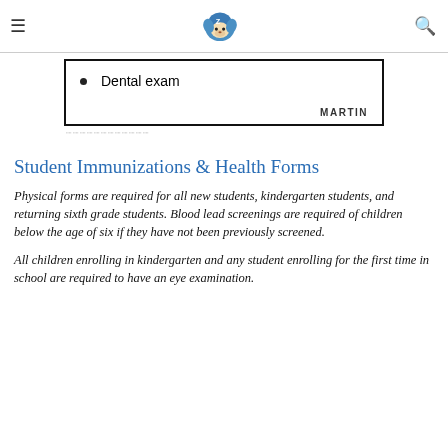≡ [Lion mascot logo] 🔍
[Figure (other): Partial document box showing a bullet point 'Dental exam' and 'MARTIN' watermark at bottom right, with a cut/dotted line below the box]
Dental exam
Student Immunizations & Health Forms
Physical forms are required for all new students, kindergarten students, and returning sixth grade students. Blood lead screenings are required of children below the age of six if they have not been previously screened.
All children enrolling in kindergarten and any student enrolling for the first time in school are required to have an eye examination.